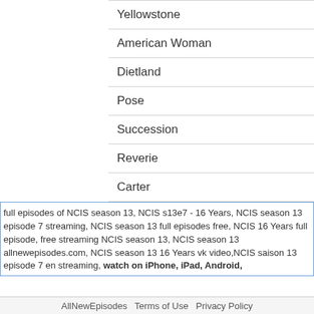Yellowstone
American Woman
Dietland
Pose
Succession
Reverie
Carter
A Very English Scandal
full episodes of NCIS season 13, NCIS s13e7 - 16 Years, NCIS season 13 episode 7 streaming, NCIS season 13 full episodes free, NCIS 16 Years full episode, free streaming NCIS season 13, NCIS season 13 allnewepisodes.com, NCIS season 13 16 Years vk video,NCIS saison 13 episode 7 en streaming, watch on iPhone, iPad, Android,
AllNewEpisodes   Terms of Use   Privacy Policy